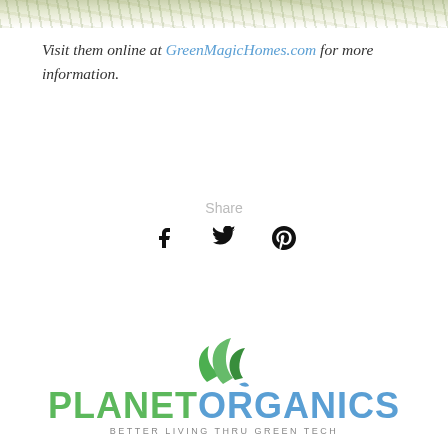[Figure (photo): Nature/garden background image strip at top of page]
Visit them online at GreenMagicHomes.com for more information.
Share
[Figure (illustration): Social media share icons: Facebook, Twitter, Pinterest]
[Figure (logo): Planet Organics logo with green leaves icon and tagline: BETTER LIVING THRU GREEN TECH]